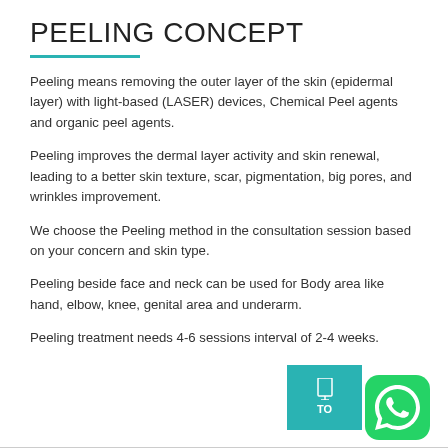PEELING CONCEPT
Peeling means removing the outer layer of the skin (epidermal layer) with light-based (LASER) devices, Chemical Peel agents and organic peel agents.
Peeling improves the dermal layer activity and skin renewal, leading to a better skin texture, scar, pigmentation, big pores, and wrinkles improvement.
We choose the Peeling method in the consultation session based on your concern and skin type.
Peeling beside face and neck can be used for Body area like hand, elbow, knee, genital area and underarm.
Peeling treatment needs 4-6 sessions interval of 2-4 weeks.